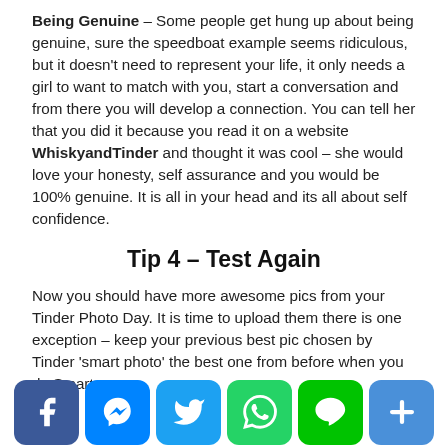Being Genuine – Some people get hung up about being genuine, sure the speedboat example seems ridiculous, but it doesn't need to represent your life, it only needs a girl to want to match with you, start a conversation and from there you will develop a connection. You can tell her that you did it because you read it on a website WhiskyandTinder and thought it was cool – she would love your honesty, self assurance and you would be 100% genuine. It is all in your head and its all about self confidence.
Tip 4 – Test Again
Now you should have more awesome pics from your Tinder Photo Day. It is time to upload them there is one exception – keep your previous best pic chosen by Tinder 'smart photo' the best one from before when you do Smart p...